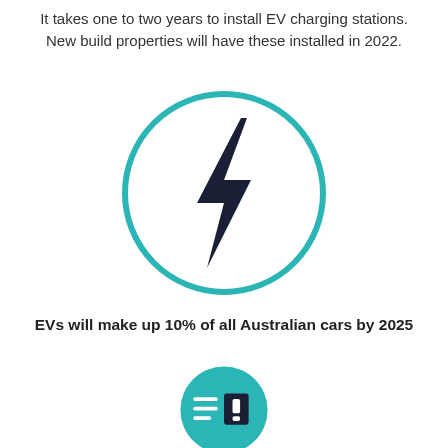It takes one to two years to install EV charging stations.
New build properties will have these installed in 2022.
[Figure (illustration): A teal/turquoise circle outline containing a dark navy lightning bolt icon representing EV charging]
EVs will make up 10% of all Australian cars by 2025
[Figure (illustration): A teal/turquoise filled circle (partially visible at bottom) containing an icon with lines and an exclamation mark representing a checklist or alert]